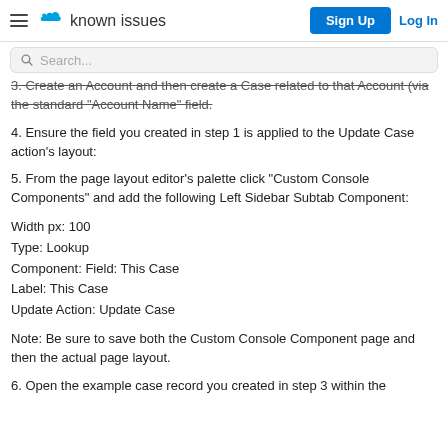known issues | Sign Up | Log In
3. Create an Account and then create a Case related to that Account (via the standard "Account Name" field.
4. Ensure the field you created in step 1 is applied to the Update Case action's layout:
5. From the page layout editor's palette click "Custom Console Components" and add the following Left Sidebar Subtab Component:
Width px: 100
Type: Lookup
Component: Field: This Case
Label: This Case
Update Action: Update Case
Note: Be sure to save both the Custom Console Component page and then the actual page layout.
6. Open the example case record you created in step 3 within the